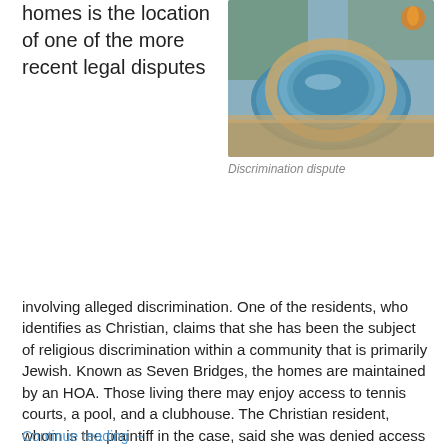homes is the location of one of the more recent legal disputes
[Figure (photo): Outdoor pool and hot tub area with stone/tile surround, luxury residential amenity]
Discrimination dispute
involving alleged discrimination. One of the residents, who identifies as Christian, claims that she has been the subject of religious discrimination within a community that is primarily Jewish. Known as Seven Bridges, the homes are maintained by an HOA. Those living there may enjoy access to tennis courts, a pool, and a clubhouse. The Christian resident, whom is the plaintiff in the case, said she was denied access to these amenities for 330 days following a spat with one of her Jewish neighbors. The plaintiff was also subjected to a $5,000 fine for her part in the dispute. For what she identifies as a hostile housing environment, the plaintiff filed a lawsuit against the HOA for neglecting to resolve the matter.
Continue reading →